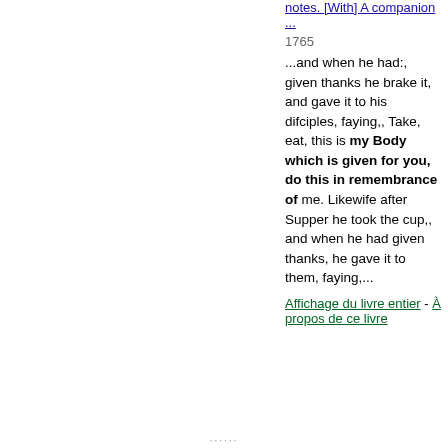notes. [With] A companion ...
1765
...and when he had:, given thanks he brake it, and gave it to his difciples, faying,, Take, eat, this is my Body which is given for you, do this in remembrance of me. Likewife after Supper he took the cup,, and when he had given thanks, he gave it to them, faying,...
Affichage du livre entier - À propos de ce livre